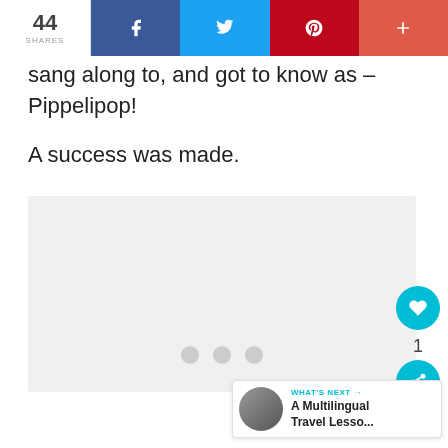44 SHARES | f | twitter | pinterest | +
sang along to, and got to know as – Pippelipop!
A success was made.
[Figure (photo): Gray image placeholder with three loading dots]
WHAT'S NEXT → A Multilingual Travel Lesso...